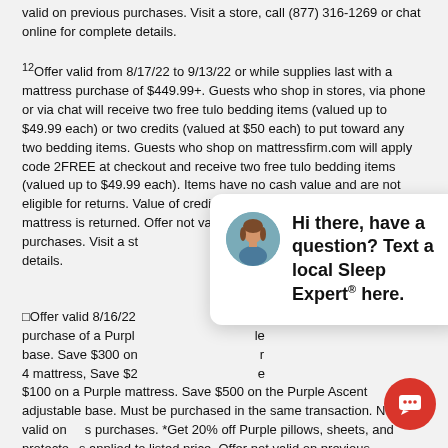valid on previous purchases. Visit a store, call (877) 316-1269 or chat online for complete details.
12Offer valid from 8/17/22 to 9/13/22 or while supplies last with a mattress purchase of $449.99+. Guests who shop in stores, via phone or via chat will receive two free tulo bedding items (valued up to $49.99 each) or two credits (valued at $50 each) to put toward any two bedding items. Guests who shop on mattressfirm.com will apply code 2FREE at checkout and receive two free tulo bedding items (valued up to $49.99 each). Items have no cash value and are not eligible for returns. Value of credit will be deducted from refund if mattress is returned. Offer not valid on previous purchases. Visit a store... details.
□Offer valid 8/16/22... purchase of a Purple... base. Save $300 on... 4 mattress, Save $2... $100 on a Purple mattress. Save $500 on the Purple Ascent adjustable base. Must be purchased in the same transaction. Not valid on previous purchases. *Get 20% off Purple pillows, sheets, and protectors applied to listed price. Offer not valid on previous purchases. Visit a store or see mattressfirm.com for details.
[Figure (other): Chat popup with female agent avatar and text: Hi there, have a question? Text a local Sleep Expert® here. With a close button and red chat icon button.]